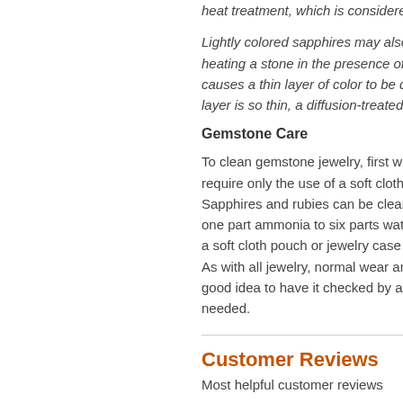heat treatment, which is considere...
Lightly colored sapphires may also heating a stone in the presence of causes a thin layer of color to be d layer is so thin, a diffusion-treated
Gemstone Care
To clean gemstone jewelry, first wi require only the use of a soft cloth, Sapphires and rubies can be clear one part ammonia to six parts wate a soft cloth pouch or jewelry case s As with all jewelry, normal wear an good idea to have it checked by a needed.
Customer Reviews
Most helpful customer reviews
5 of 5 people found the following re